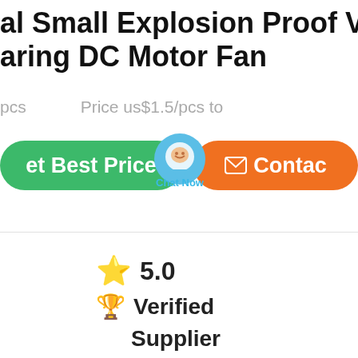al Small Explosion Proof Ventilat aring DC Motor Fan
pcs   Price us$1.5/pcs to
[Figure (screenshot): Two buttons: green 'Get Best Price' button and orange 'Contact' button with a 'Chat Now' bubble overlay in between]
★ 5.0
🏆 Verified
Supplier